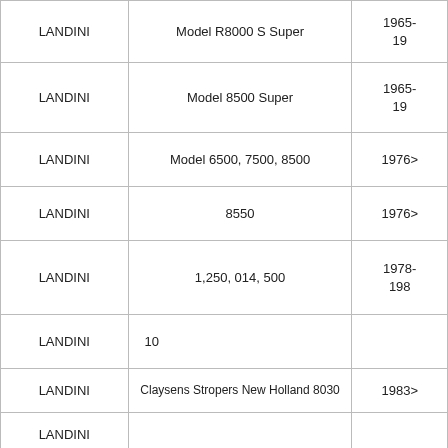| Brand | Model | Year |
| --- | --- | --- |
| LANDINI | Model R8000 S Super | 1965-19 |
| LANDINI | Model 8500 Super | 1965-19 |
| LANDINI | Model 6500, 7500, 8500 | 1976> |
| LANDINI | 8550 | 1976> |
| LANDINI | 1,250, 014, 500 | 1978-198 |
| LANDINI | 10… |  |
| LANDINI | Claysens Stropers New Holland 8030 | 1983> |
| LANDINI |  |  |
| LANDINI | TR85, TF42, TF44 | 1983> |